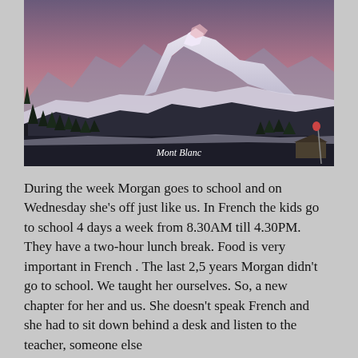[Figure (photo): Snow-covered mountain range (Mont Blanc) at dusk/dawn with pink-purple sky and dark evergreen trees in the foreground. A ski pole and figures are visible at the lower right.]
Mont Blanc
During the week Morgan goes to school and on Wednesday she's off just like us. In French the kids go to school 4 days a week from 8.30AM till 4.30PM. They have a two-hour lunch break. Food is very important in French . The last 2,5 years Morgan didn't go to school. We taught her ourselves. So, a new chapter for her and us. She doesn't speak French and she had to sit down behind a desk and listen to the teacher, someone else